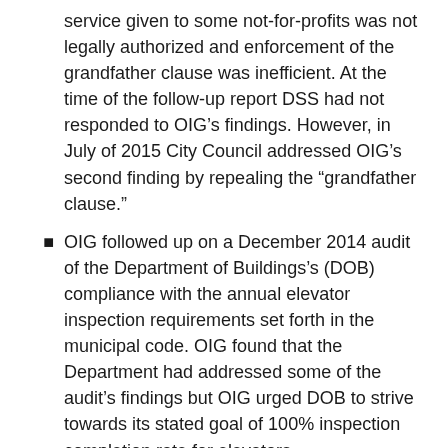service given to some not-for-profits was not legally authorized and enforcement of the grandfather clause was inefficient. At the time of the follow-up report DSS had not responded to OIG’s findings. However, in July of 2015 City Council addressed OIG’s second finding by repealing the “grandfather clause.”
OIG followed up on a December 2014 audit of the Department of Buildings’s (DOB) compliance with the annual elevator inspection requirements set forth in the municipal code. OIG found that the Department had addressed some of the audit’s findings but OIG urged DOB to strive towards its stated goal of 100% inspection completion rate for elevators